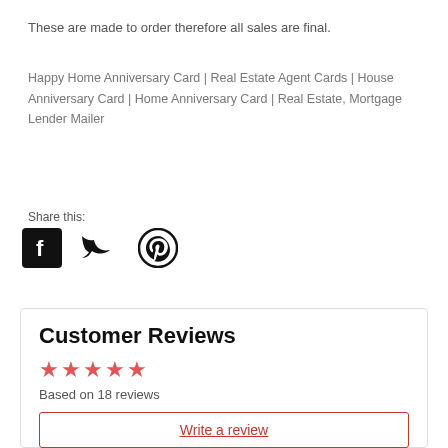These are made to order therefore all sales are final.
Happy Home Anniversary Card | Real Estate Agent Cards | House Anniversary Card | Home Anniversary Card | Real Estate, Mortgage Lender Mailer
Share this:
[Figure (other): Social media share icons: Facebook, Twitter, Pinterest]
Customer Reviews
Based on 18 reviews
Write a review
100% (18)